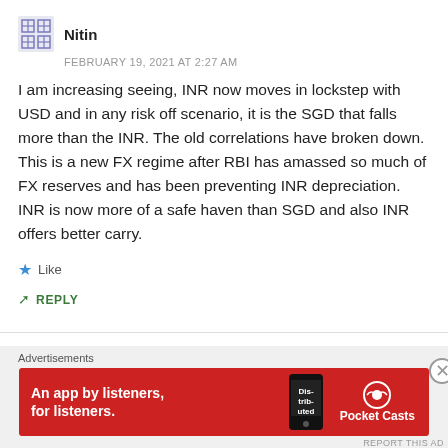Nitin
FEBRUARY 19, 2021 AT 2:27 AM
I am increasing seeing, INR now moves in lockstep with USD and in any risk off scenario, it is the SGD that falls more than the INR. The old correlations have broken down. This is a new FX regime after RBI has amassed so much of FX reserves and has been preventing INR depreciation. INR is now more of a safe haven than SGD and also INR offers better carry.
Like
REPLY
Advertisements
[Figure (other): Pocket Casts advertisement banner: red background with white text 'An app by listeners, for listeners.' and phone image with 'Dis-trib-uted' text, Pocket Casts logo on right.]